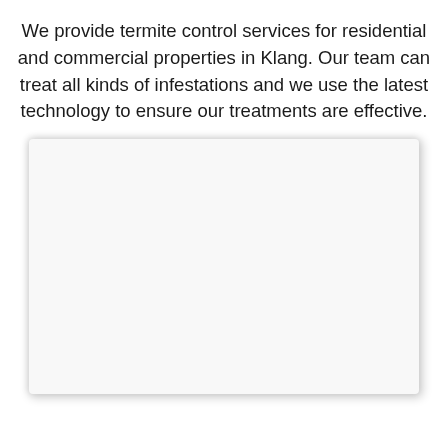We provide termite control services for residential and commercial properties in Klang. Our team can treat all kinds of infestations and we use the latest technology to ensure our treatments are effective.
[Figure (photo): A white/blank image card with shadow, likely a placeholder for a photo related to termite control services.]